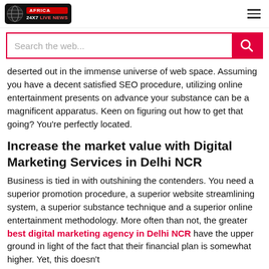AFRICA 24X7 LIVE NEWS
[Figure (screenshot): Search bar with pink border and red search button with magnifying glass icon]
deserted out in the immense universe of web space. Assuming you have a decent satisfied SEO procedure, utilizing online entertainment presents on advance your substance can be a magnificent apparatus. Keen on figuring out how to get that going? You're perfectly located.
Increase the market value with Digital Marketing Services in Delhi NCR
Business is tied in with outshining the contenders. You need a superior promotion procedure, a superior website streamlining system, a superior substance technique and a superior online entertainment methodology. More often than not, the greater best digital marketing agency in Delhi NCR have the upper ground in light of the fact that their financial plan is somewhat higher. Yet, this doesn't